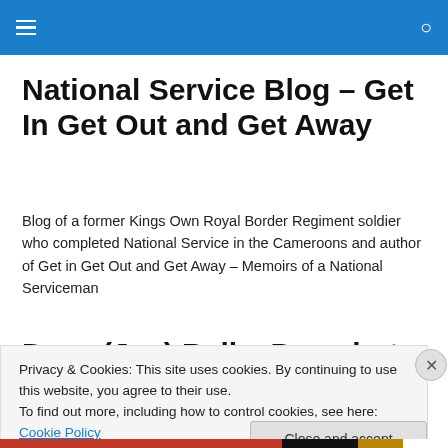National Service Blog – Get In Get Out and Get Away (header navigation bar)
National Service Blog – Get In Get Out and Get Away
Blog of a former Kings Own Royal Border Regiment soldier who completed National Service in the Cameroons and author of Get in Get Out and Get Away – Memoirs of a National Serviceman
Dave (Joe) Bell – Parachute
Privacy & Cookies: This site uses cookies. By continuing to use this website, you agree to their use.
To find out more, including how to control cookies, see here: Cookie Policy